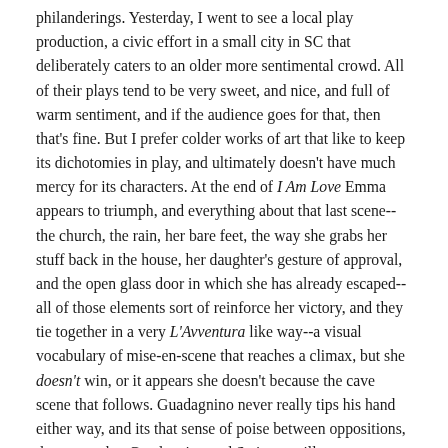philanderings. Yesterday, I went to see a local play production, a civic effort in a small city in SC that deliberately caters to an older more sentimental crowd. All of their plays tend to be very sweet, and nice, and full of warm sentiment, and if the audience goes for that, then that's fine. But I prefer colder works of art that like to keep its dichotomies in play, and ultimately doesn't have much mercy for its characters. At the end of I Am Love Emma appears to triumph, and everything about that last scene--the church, the rain, her bare feet, the way she grabs her stuff back in the house, her daughter's gesture of approval, and the open glass door in which she has already escaped--all of those elements sort of reinforce her victory, and they tie together in a very L'Avventura like way--a visual vocabulary of mise-en-scene that reaches a climax, but she doesn't win, or it appears she doesn't because the cave scene that follows. Guadagnino never really tips his hand either way, and its that sense of poise between oppositions, that sense that Guadagnino and Swinton will not compromise their vision for the audience, that